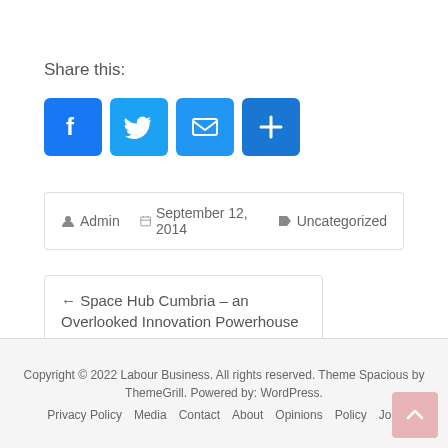Share this:
[Figure (other): Social sharing icons: Facebook (blue f), Twitter (blue bird), Email (blue envelope), Share (blue plus)]
Admin   September 12, 2014   Uncategorized
← Space Hub Cumbria – an Overlooked Innovation Powerhouse
More Inclusive Britain in a Schumpeterian Future →
Copyright © 2022 Labour Business. All rights reserved. Theme Spacious by ThemeGrill. Powered by: WordPress.
Privacy Policy   Media   Contact   About   Opinions   Policy   Join